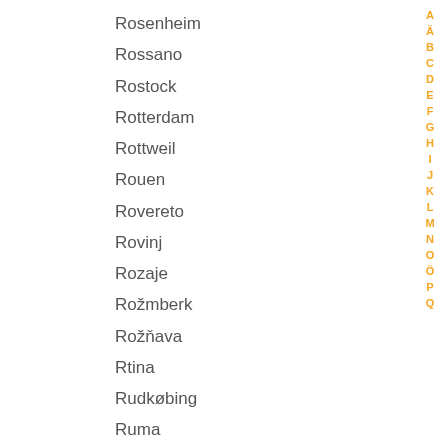Rosenheim
Rossano
Rostock
Rotterdam
Rottweil
Rouen
Rovereto
Rovinj
Rozaje
Rožmberk
Rožňava
Rtina
Rudkøbing
Ruma
Rummu